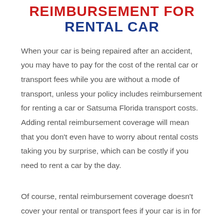REIMBURSEMENT FOR RENTAL CAR
When your car is being repaired after an accident, you may have to pay for the cost of the rental car or transport fees while you are without a mode of transport, unless your policy includes reimbursement for renting a car or Satsuma Florida transport costs. Adding rental reimbursement coverage will mean that you don't even have to worry about rental costs taking you by surprise, which can be costly if you need to rent a car by the day.
Of course, rental reimbursement coverage doesn't cover your rental or transport fees if your car is in for